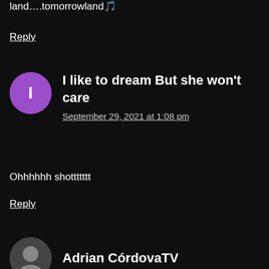land….tomorrowland🎵
Reply
I like to dream But she won't care
September 29, 2021 at 1:08 pm
Ohhhhhh shottttttt
Reply
Adrian CórdovaTV